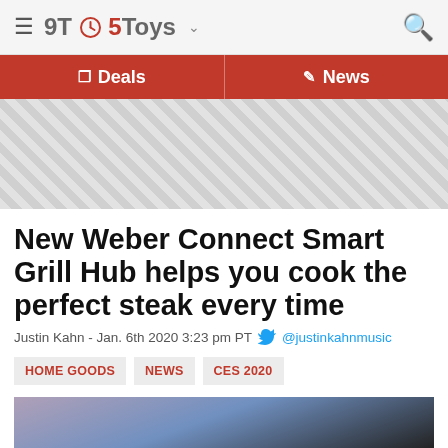9TO5Toys
Deals / News
[Figure (other): Advertisement banner area with diagonal hatch pattern]
New Weber Connect Smart Grill Hub helps you cook the perfect steak every time
Justin Kahn - Jan. 6th 2020 3:23 pm PT @justinkahnmusic
HOME GOODS
NEWS
CES 2020
[Figure (photo): Partial photo of a person near a grill/cooking scene, cropped at bottom of page]